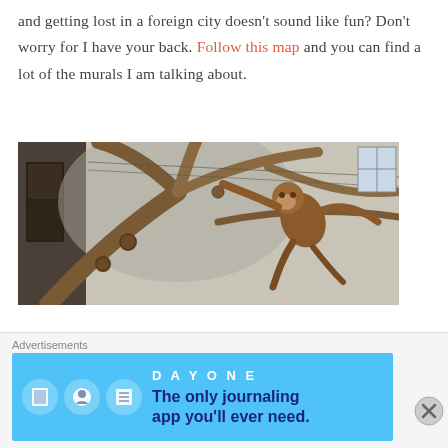and getting lost in a foreign city doesn't sound like fun? Don't worry for I have your back. Follow this map and you can find a lot of the murals I am talking about.
[Figure (photo): Street art mural on a weathered wall showing a monkey or orangutan swinging on tree branches]
[Figure (photo): Street art mural on a ruined brick wall with green plants growing through cracks]
Advertisements
[Figure (screenshot): Advertisement banner for Day One journaling app with text: The only journaling app you'll ever need.]